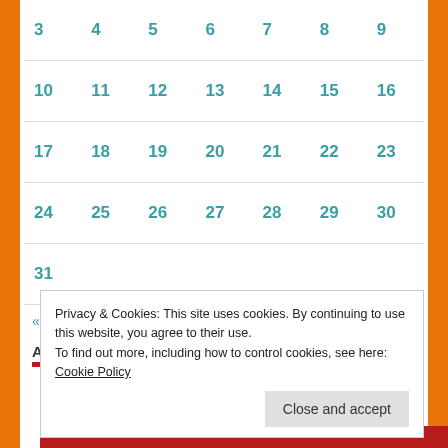| 3 | 4 | 5 | 6 | 7 | 8 | 9 |
| 10 | 11 | 12 | 13 | 14 | 15 | 16 |
| 17 | 18 | 19 | 20 | 21 | 22 | 23 |
| 24 | 25 | 26 | 27 | 28 | 29 | 30 |
| 31 |  |  |  |  |  |  |
« Nov  Feb »
Advertisements
Privacy & Cookies: This site uses cookies. By continuing to use this website, you agree to their use.
To find out more, including how to control cookies, see here: Cookie Policy
Close and accept